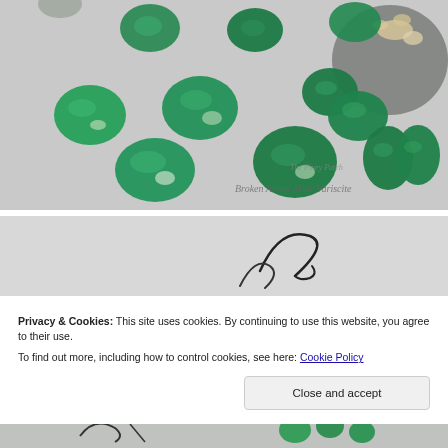[Figure (photo): Multiple polished green variscite stones arranged on a grey surface with a round slate plate and dried flowers in the upper right. Text reads 'The Piney Patch' and 'Broken Arrow Mine Variscite' in the lower right corner.]
[Figure (photo): Partial view of a second photo showing a grey background with a hand-drawn or ink sketch figure visible.]
Privacy & Cookies: This site uses cookies. By continuing to use this website, you agree to their use.
To find out more, including how to control cookies, see here: Cookie Policy
Close and accept
[Figure (photo): Partial bottom photo showing green mineral stones and a hand with writing or markings.]